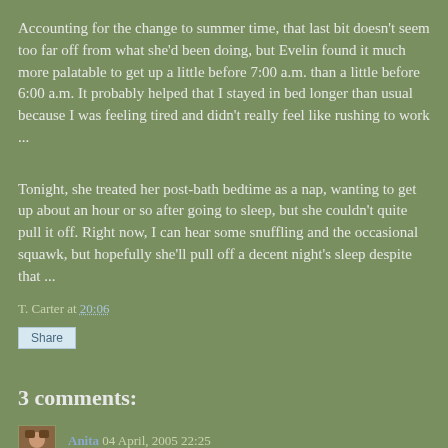Accounting for the change to summer time, that last bit doesn't seem too far off from what she'd been doing, but Evelin found it much more palatable to get up a little before 7:00 a.m. than a little before 6:00 a.m. It probably helped that I stayed in bed longer than usual because I was feeling tired and didn't really feel like rushing to work ...
Tonight, she treated her post-bath bedtime as a nap, wanting to get up about an hour or so after going to sleep, but she couldn't quite pull it off. Right now, I can hear some snuffling and the occasional squawk, but hopefully she'll pull off a decent night's sleep despite that ...
T. Carter at 20:06
Share
3 comments:
Anita 04 April, 2005 22:25